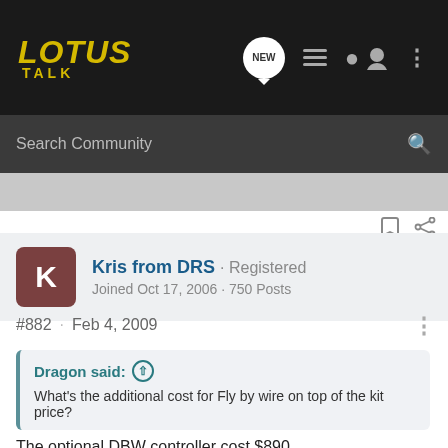LOTUS TALK
Search Community
Kris from DRS · Registered
Joined Oct 17, 2006 · 750 Posts
#882 · Feb 4, 2009
Dragon said:
What's the additional cost for Fly by wire on top of the kit price?
The optional DBW controller cost $890
We have some customers who do not use this device and the cars run fine. However, an air bleed is required b/c the original